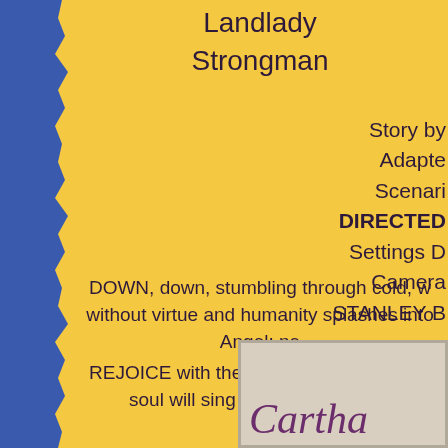Landlady
Strongman
Story by
Adapte
Scenari
DIRECTED
Settings D
Camera
STANLEY B
DOWN, down, stumbling through cold, w without virtue and humanity splashes into Angel; ne
REJOICE with them! Laugh with them! Y soul will sing when you witness
- D
[Figure (photo): Partial image of a Carthay Circle theatre or similar vintage movie palace logo/sign, showing the word 'Cartha' in purple italic serif font on a beige/cream background with a decorative border]